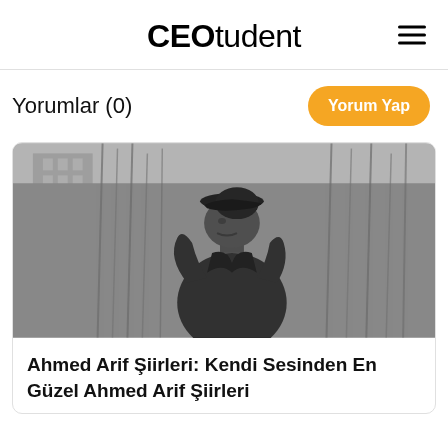CEOtudent
Yorumlar (0)
[Figure (photo): Black and white photograph of an elderly man wearing a dark cap and jacket, looking to the side with his hands raised, standing in front of tall grass or reeds.]
Ahmed Arif Şiirleri: Kendi Sesinden En Güzel Ahmed Arif Şiirleri